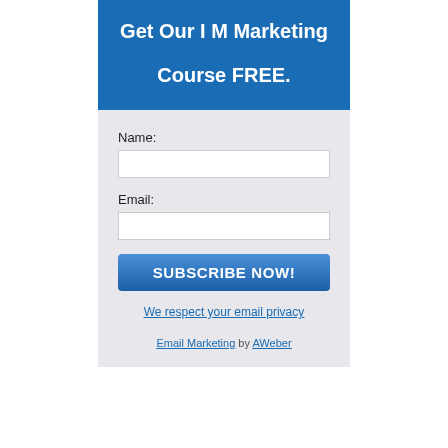Get Our I M Marketing Course FREE.
Name:
Email:
SUBSCRIBE NOW!
We respect your email privacy
Email Marketing by AWeber